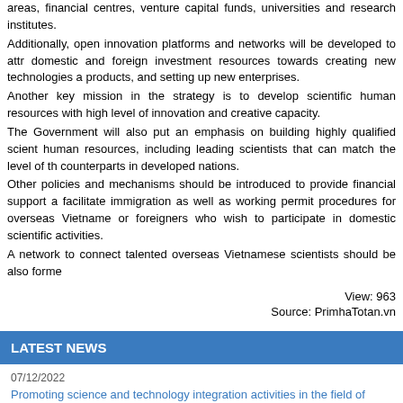areas, financial centres, venture capital funds, universities and research institutes. Additionally, open innovation platforms and networks will be developed to attract domestic and foreign investment resources towards creating new technologies and products, and setting up new enterprises. Another key mission in the strategy is to develop scientific human resources with a high level of innovation and creative capacity. The Government will also put an emphasis on building highly qualified scientific human resources, including leading scientists that can match the level of their counterparts in developed nations. Other policies and mechanisms should be introduced to provide financial support and facilitate immigration as well as working permit procedures for overseas Vietnamese or foreigners who wish to participate in domestic scientific activities. A network to connect talented overseas Vietnamese scientists should be also formed.
View: 963
Source: PrimhaTotan.vn
LATEST NEWS
07/12/2022
Promoting science and technology integration activities in the field of agriculture in Hoa Binh province
07/01/2022
Online meeting for developing cooperation activities between Centre for